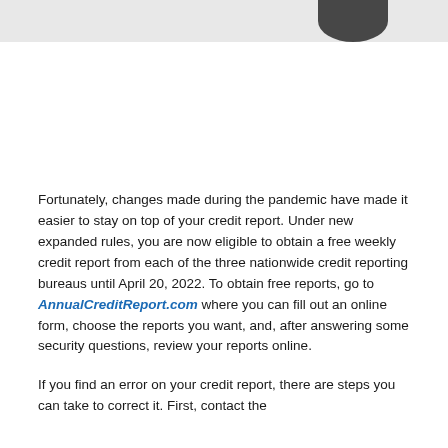[Figure (photo): Partial header image with light gray background and a dark rounded shape on the right side]
Fortunately, changes made during the pandemic have made it easier to stay on top of your credit report. Under new expanded rules, you are now eligible to obtain a free weekly credit report from each of the three nationwide credit reporting bureaus until April 20, 2022. To obtain free reports, go to AnnualCreditReport.com where you can fill out an online form, choose the reports you want, and, after answering some security questions, review your reports online.
If you find an error on your credit report, there are steps you can take to correct it. First, contact the